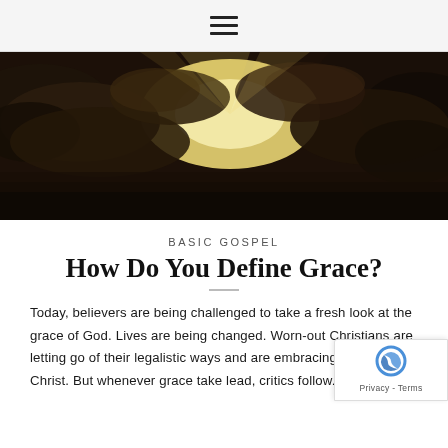☰ (hamburger menu icon)
[Figure (photo): Dramatic sky with sunlight breaking through dark storm clouds, golden and amber tones, landscape orientation hero image]
BASIC GOSPEL
How Do You Define Grace?
Today, believers are being challenged to take a fresh look at the grace of God. Lives are being changed. Worn-out Christians are letting go of their legalistic ways and are embracing new life in Christ. But whenever grace take lead, critics follow.